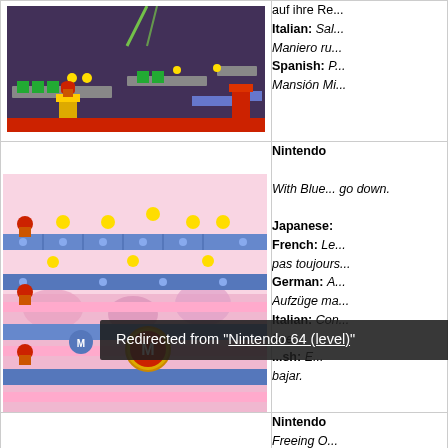[Figure (screenshot): Video game screenshot - dark purple level with platforms, coins, and Mario character]
Italian: Sal...
Maniero ru...
Spanish: P...
Mansión Mi...
[Figure (screenshot): Video game screenshot - colorful level with pink/purple blocks, Mario characters, coins, and M medallion]
Nintendo
With Blue... go down.
Japanese:
French: Le... pas toujours...
German: A... Aufzüge ma...
Italian: Con... iere.
sh: E... bajar.
Redirected from "Nintendo 64 (level)"
[Figure (screenshot): Video game screenshot - colorful level at bottom of page]
Nintendo
Freeing O...